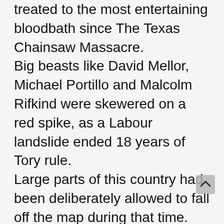treated to the most entertaining bloodbath since The Texas Chainsaw Massacre.
Big beasts like David Mellor, Michael Portillo and Malcolm Rifkind were skewered on a red spike, as a Labour landslide ended 18 years of Tory rule.
Large parts of this country had been deliberately allowed to fall off the map during that time.
In 1997, unemployment was twice what it had been under Labour in 1979, the number living in poverty had trebled and the richest 10% had became 60% richer while the poorest 10% were 17% poorer.
One-in-five NHS hospitals had been shut, waiting lists were at a record high, there wa. chronic shortage of nurses and doctors, and